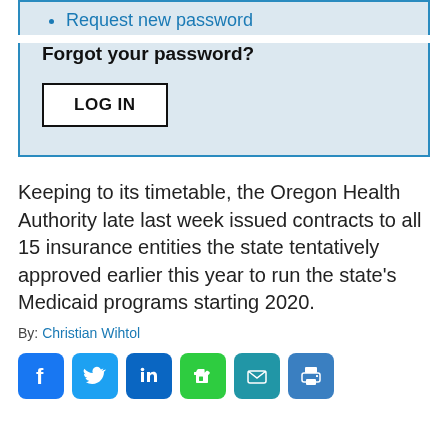Request new password
Forgot your password?
LOG IN
Keeping to its timetable, the Oregon Health Authority late last week issued contracts to all 15 insurance entities the state tentatively approved earlier this year to run the state's Medicaid programs starting 2020.
By: Christian Wihtol
[Figure (other): Social media sharing icons: Facebook, Twitter, LinkedIn, Evernote, Email, Print]